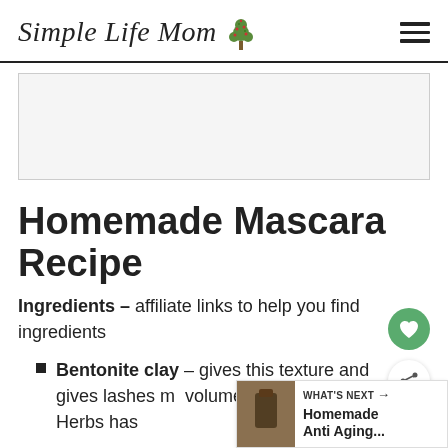Simple Life Mom
[Figure (other): Advertisement placeholder / gray box]
Homemade Mascara Recipe
Ingredients – affiliate links to help you find ingredients
Bentonite clay – gives this texture and gives lashes more volume. Mountain Rose Herbs has
[Figure (other): What's Next callout: Homemade Anti Aging... with thumbnail image]